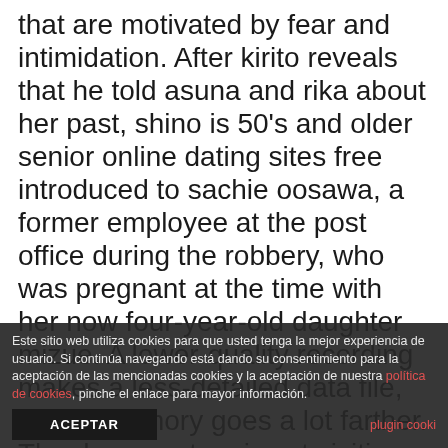that are motivated by fear and intimidation. After kirito reveals that he told asuna and rika about her past, shino is 50's and older senior online dating sites free introduced to sachie oosawa, a former employee at the post office during the robbery, who was pregnant at the time with her now four-year-old daughter mizue. A lower-quality recording makes a less-detailed data file, so the memory goes a lot farther. The documentary is set visiting various countries asking and interviewing locals to provide their opinion and expertise. most used mature dating online site in phoenix Here are the standards, straight from canada
Este sitio web utiliza cookies para que usted tenga la mejor experiencia de usuario. Si continúa navegando está dando su consentimiento para la aceptación de las mencionadas cookies y la aceptación de nuestra política de cookies, pinche el enlace para mayor información.
ACEPTAR
plugin cooki